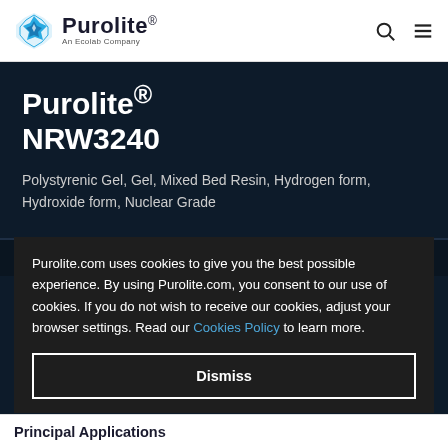Purolite® An Ecolab Company
Purolite® NRW3240
Polystyrenic Gel, Gel, Mixed Bed Resin, Hydrogen form, Hydroxide form, Nuclear Grade
Purolite.com uses cookies to give you the best possible experience. By using Purolite.com, you consent to our use of cookies. If you do not wish to receive our cookies, adjust your browser settings. Read our Cookies Policy to learn more.
Dismiss
Principal Applications